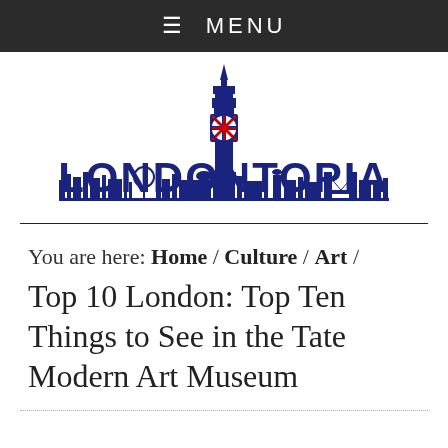≡ MENU
[Figure (logo): Londontopia logo featuring Big Ben tower with Union Jack clock face and London skyline silhouette, text reads LONDONTOPIA in bold navy blue]
You are here: Home / Culture / Art /
Top 10 London: Top Ten Things to See in the Tate Modern Art Museum